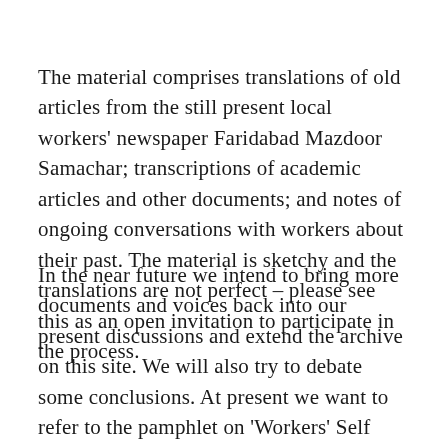The material comprises translations of old articles from the still present local workers' newspaper Faridabad Mazdoor Samachar; transcriptions of academic articles and other documents; and notes of ongoing conversations with workers about their past. The material is sketchy and the translations are not perfect – please see this as an open invitation to participate in the process.
In the near future we intend to bring more documents and voices back into our present discussions and extend the archive on this site. We will also try to debate some conclusions. At present we want to refer to the pamphlet on 'Workers' Self Activity' by Faridabad Mazdoor Samachar, which you can find below.